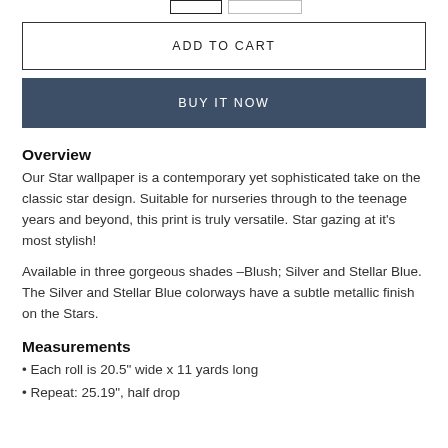ADD TO CART
BUY IT NOW
Overview
Our Star wallpaper is a contemporary yet sophisticated take on the classic star design. Suitable for nurseries through to the teenage years and beyond, this print is truly versatile. Star gazing at it's most stylish!
Available in three gorgeous shades –Blush; Silver and Stellar Blue. The Silver and Stellar Blue colorways have a subtle metallic finish on the Stars.
Measurements
Each roll is 20.5" wide x 11 yards long
Repeat: 25.19", half drop